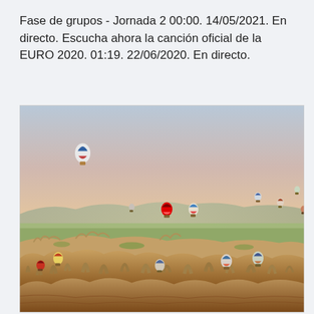Fase de grupos - Jornada 2 00:00. 14/05/2021. En directo. Escucha ahora la canción oficial de la EURO 2020. 01:19. 22/06/2020. En directo.
[Figure (photo): Aerial landscape photo of Cappadocia, Turkey at sunrise/golden hour, showing many hot air balloons floating over rocky terrain with valleys, hoodoos, and rolling plains extending to distant mountains under a warm peach-toned sky.]